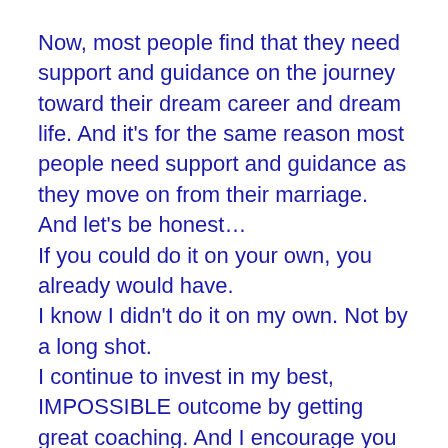Now, most people find that they need support and guidance on the journey toward their dream career and dream life. And it's for the same reason most people need support and guidance as they move on from their marriage. And let's be honest…
If you could do it on your own, you already would have.
I know I didn't do it on my own. Not by a long shot.
I continue to invest in my best, IMPOSSIBLE outcome by getting great coaching. And I encourage you to consider doing the same.
I LOVE the work I do in my private practice